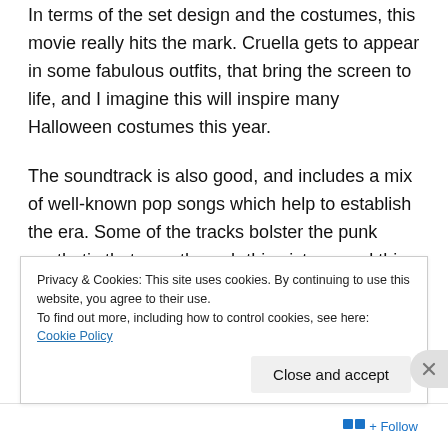In terms of the set design and the costumes, this movie really hits the mark. Cruella gets to appear in some fabulous outfits, that bring the screen to life, and I imagine this will inspire many Halloween costumes this year.
The soundtrack is also good, and includes a mix of well-known pop songs which help to establish the era. Some of the tracks bolster the punk aesthetic that runs through this picture, and this helps to create the 1970s setting.
There are also plenty of gags in the movie. Not all of them land, but the humour is ever-present and this
Privacy & Cookies: This site uses cookies. By continuing to use this website, you agree to their use.
To find out more, including how to control cookies, see here: Cookie Policy
Close and accept